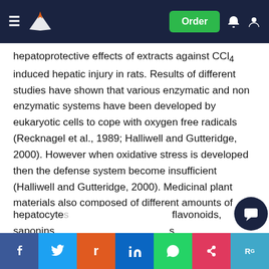Order
hepatoprotective effects of extracts against CCl4 induced hepatic injury in rats. Results of different studies have shown that various enzymatic and non enzymatic systems have been developed by eukaryotic cells to cope with oxygen free radicals (Recknagel et al., 1989; Halliwell and Gutteridge, 2000). However when oxidative stress is developed then the defense system become insufficient (Halliwell and Gutteridge, 2000). Medicinal plant materials also composed of different amounts of antioxidants which play main role in controlling various pathological condition including cancer, cardiovascular diseases, liver diseases and lipid peroxidation (Martin et al., 1993, Agbor et al., 2001). These results indicated that various fractions and rutin are helping in response and adaptation of the hepatocytes by increasing the presence of flavonoids, saponins, and other secondary metabolites.